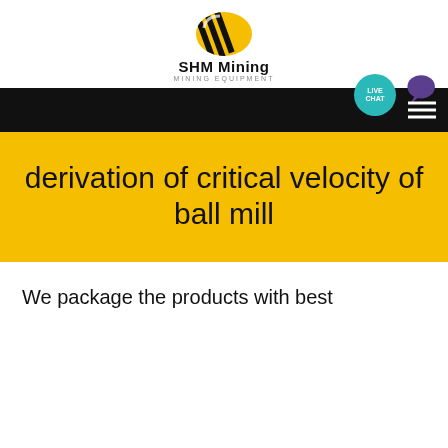[Figure (logo): SHM Mining logo with diagonal black stripes on yellow background, brand name 'SHM Mining' and tagline 'MINING EQUIPMENT']
derivation of critical velocity of ball mill
We package the products with best